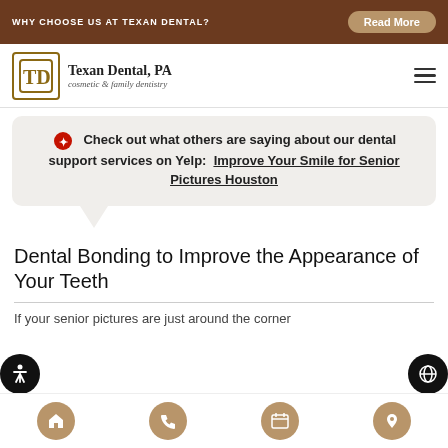WHY CHOOSE US AT TEXAN DENTAL? Read More
[Figure (logo): Texan Dental PA logo with TD monogram in square frame, text: Texan Dental, PA cosmetic & family dentistry]
Check out what others are saying about our dental support services on Yelp: Improve Your Smile for Senior Pictures Houston
Dental Bonding to Improve the Appearance of Your Teeth
If your senior pictures are just around the corner